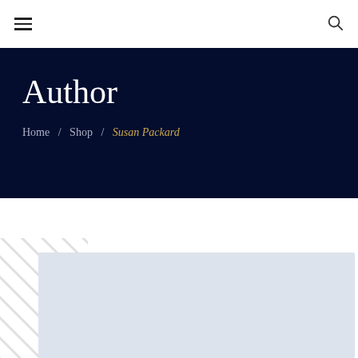≡  🔍
Author
Home / Shop / Susan Packard
[Figure (other): Light blue/grey rectangular card placeholder with diagonal stripe decorative element on the left side]